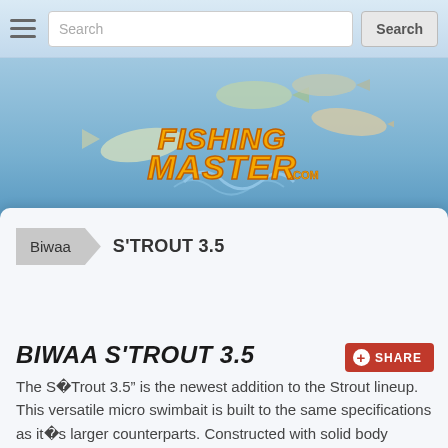[Figure (screenshot): Navigation bar with hamburger menu, search input field, and Search button]
[Figure (logo): FishingMaster.com logo with fish illustrations on blue sky background]
Biwaa
S'TROUT 3.5
BIWAA S'TROUT 3.5
The S�Trout 3.5” is the newest addition to the Strout lineup. This versatile micro swimbait is built to the same specifications as it�s larger counterparts. Constructed with solid body segments